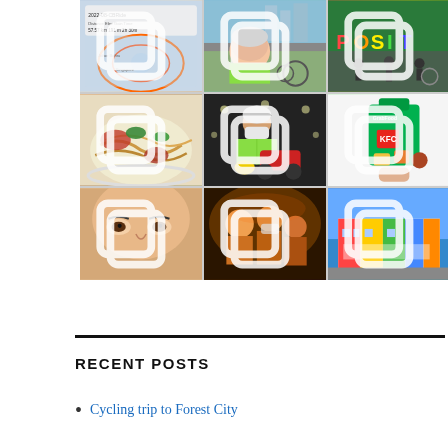[Figure (photo): 3x3 Instagram-style photo grid showing: (1) cycling route map app screenshot with stats (57.57km, 191m, 2h30m), (2) selfie of man in green cycling jersey with helmet on bridge, (3) cyclists at colorful POSIT sign outdoor event, (4) bowl of noodles with char siu pork, (5) man in green vest with motorcycle in tunnel wearing mask, (6) GrabFood bag with KFC food stickers, (7) close-up of man's face, (8) group photo at movie/event in warm lighting, (9) colorful shopfront building. Each cell has a multi-image icon (two overlapping rectangles) in the top-right corner.]
RECENT POSTS
Cycling trip to Forest City